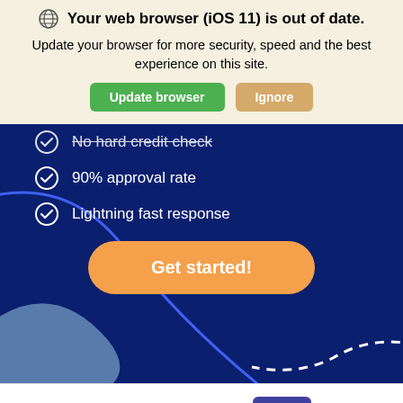Your web browser (iOS 11) is out of date.
Update your browser for more security, speed and the best experience on this site.
No hard credit check
90% approval rate
Lightning fast response
[Figure (screenshot): Dark blue background with decorative abstract curves and a large orange 'Get started!' button]
This site uses cookies.